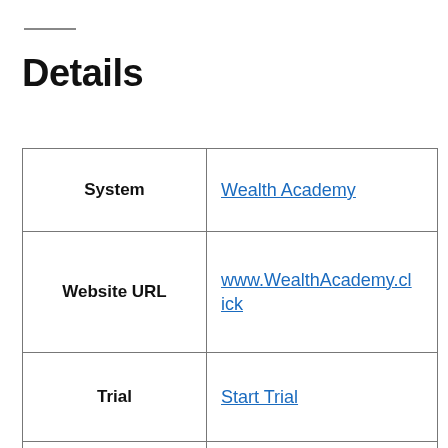Details
| System | Wealth Academy |
| Website URL | www.WealthAcademy.click |
| Trial | Start Trial |
| Overall Score | 9.3/10 |